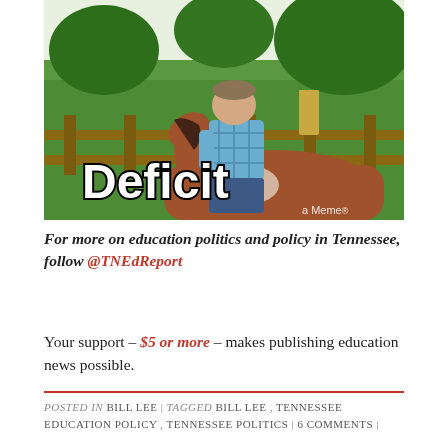[Figure (photo): A man in a blue plaid shirt riding a horse at a farm, with a wooden fence and green trees in the background. The image has a meme overlay with the word 'Deficit' in bold white text with black outline, and a small watermark 'a Meme' in the bottom right corner.]
For more on education politics and policy in Tennessee, follow @TNEdReport
Your support – $5 or more – makes publishing education news possible.
POSTED IN BILL LEE | TAGGED BILL LEE , TENNESSEE EDUCATION POLICY , TENNESSEE POLITICS | 6 COMMENTS |